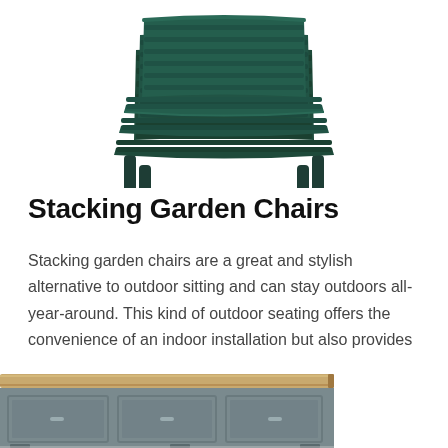[Figure (photo): Stack of dark green plastic garden chairs photographed from slightly below, showing multiple chairs nested/stacked on top of each other]
Stacking Garden Chairs
Stacking garden chairs are a great and stylish alternative to outdoor sitting and can stay outdoors all-year-around. This kind of outdoor seating offers the convenience of an indoor installation but also provides the benefit of outdoor comfort. When paired with other outdoor garden furniture, outdoor stacking chairs can create an appealing focal point and will [...]
[Figure (photo): Bottom portion of a grey painted wooden sideboard/console table with a light oak top, partially visible at the bottom of the page]